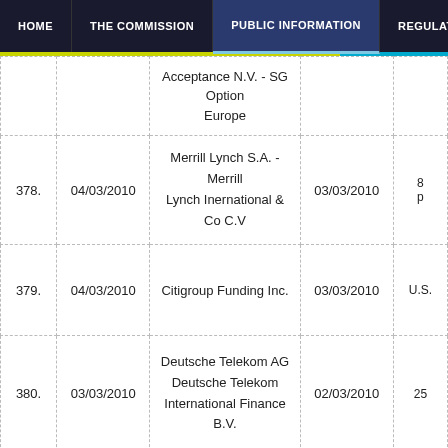HOME | THE COMMISSION | PUBLIC INFORMATION | REGULATED EN...
| # | Date | Parties | Date | Info |
| --- | --- | --- | --- | --- |
|  |  | Acceptance N.V. - SG Option Europe |  |  |
| 378. | 04/03/2010 | Merrill Lynch S.A. - Merrill Lynch Inernational & Co C.V | 03/03/2010 | 8... p... |
| 379. | 04/03/2010 | Citigroup Funding Inc. | 03/03/2010 | U.S... |
| 380. | 03/03/2010 | Deutsche Telekom AG Deutsche Telekom International Finance B.V. | 02/03/2010 | 25... |
| 381. | 26/02/2010 | Societe Generale - SGA Societe Generale Acceptance N.V. - SG Option Europe | 24/02/2010 | 12... |
|  |  | Societe Generale - SGA Societe Generale... |  |  |